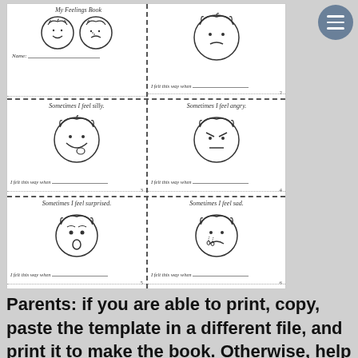[Figure (illustration): A children's 'My Feelings Book' worksheet showing 6 panels with cartoon faces expressing different emotions (happy, sad, silly, angry, surprised, sad/crying) arranged in a 2x3 grid with dashed cut lines. Each panel has a face illustration, a sentence starter 'Sometimes I feel [emotion]' and a line 'I felt this way when ___'. The top-left panel also has 'Name: ___' and a title area.]
Parents: if you are able to print, copy, paste the template in a different file, and print it to make the book. Otherwise, help